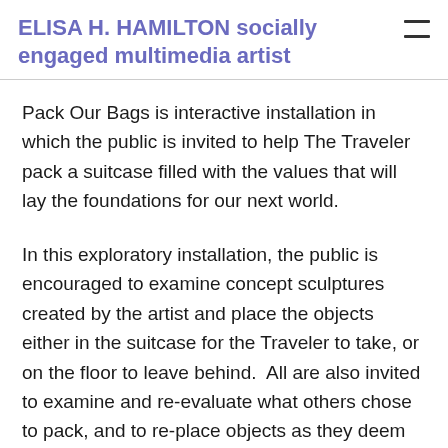ELISA H. HAMILTON socially engaged multimedia artist
Pack Our Bags is interactive installation in which the public is invited to help The Traveler pack a suitcase filled with the values that will lay the foundations for our next world.
In this exploratory installation, the public is encouraged to examine concept sculptures created by the artist and place the objects either in the suitcase for the Traveler to take, or on the floor to leave behind.  All are also invited to examine and re-evaluate what others chose to pack, and to re-place objects as they deem